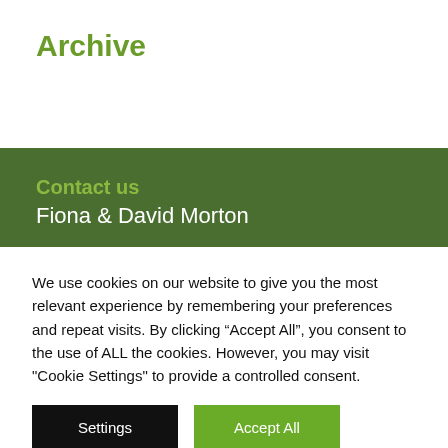Archive
Contact us
Fiona & David Morton
We use cookies on our website to give you the most relevant experience by remembering your preferences and repeat visits. By clicking “Accept All”, you consent to the use of ALL the cookies. However, you may visit "Cookie Settings" to provide a controlled consent.
Settings
Accept All